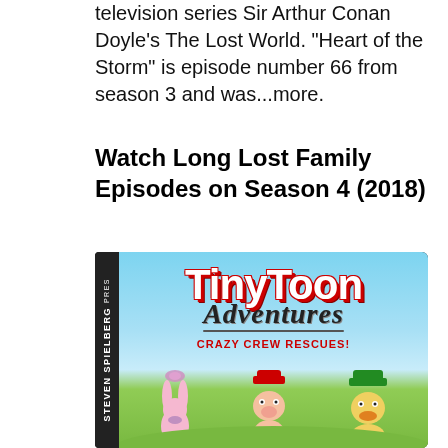television series Sir Arthur Conan Doyle's The Lost World. "Heart of the Storm" is episode number 66 from season 3 and was...more.
Watch Long Lost Family Episodes on Season 4 (2018)
[Figure (photo): DVD cover of Tiny Toon Adventures: Crazy Crew Rescues! with Steven Spielberg branding, showing cartoon characters on a green and blue background]